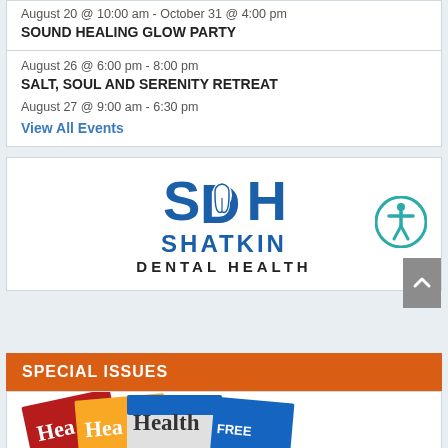August 20 @ 10:00 am - October 31 @ 4:00 pm
SOUND HEALING GLOW PARTY
August 26 @ 6:00 pm - 8:00 pm
SALT, SOUL AND SERENITY RETREAT
August 27 @ 9:00 am - 6:30 pm
View All Events
[Figure (logo): SDH Shatkin Dental Health logo with tooth icon and accessibility icon]
SPECIAL ISSUES
[Figure (photo): Stack of Health magazine issues fanned out]